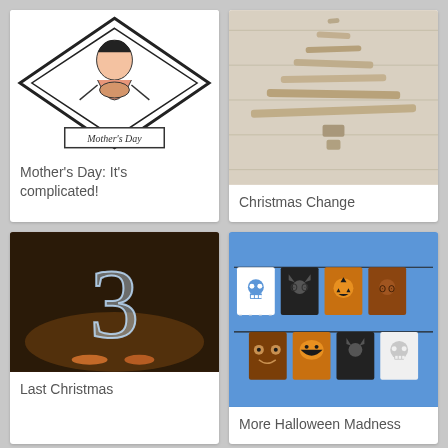[Figure (photo): Illustration of a woman in a diamond shape with 'Mother's Day' text below]
Mother's Day: It's complicated!
[Figure (photo): Driftwood arranged as a Christmas tree on white wood background]
Christmas Change
[Figure (photo): Ice sculpture shaped like the number 3 on a buffet table]
Last Christmas
[Figure (photo): Halloween papel picado banners with skulls, bats, pumpkins on blue background]
More Halloween Madness
[Figure (photo): Beach scene with waves and writing in sand]